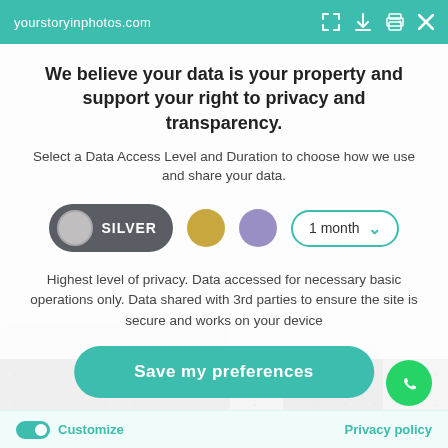yourstoryinphotos.com
We believe your data is your property and support your right to privacy and transparency.
Select a Data Access Level and Duration to choose how we use and share your data.
[Figure (other): Data access level selector showing Silver pill button (selected), Gold circle, Purple circle, and a '1 month' dropdown with teal border and chevron]
Highest level of privacy. Data accessed for necessary basic operations only. Data shared with 3rd parties to ensure the site is secure and works on your device
Save my preferences
Customize  Privacy policy